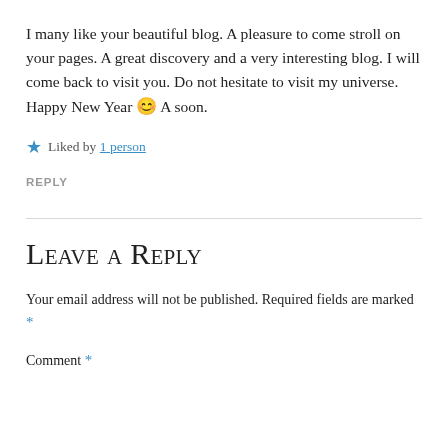I many like your beautiful blog. A pleasure to come stroll on your pages. A great discovery and a very interesting blog. I will come back to visit you. Do not hesitate to visit my universe. Happy New Year 😊 A soon.
★ Liked by 1 person
REPLY
Leave a Reply
Your email address will not be published. Required fields are marked *
Comment *